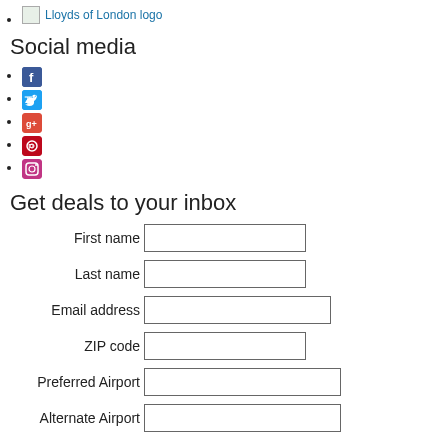Lloyds of London logo
Social media
Facebook icon
Twitter icon
Google+ icon
Pinterest icon
Instagram icon
Get deals to your inbox
First name [input field]
Last name [input field]
Email address [input field]
ZIP code [input field]
Preferred Airport [input field]
Alternate Airport [input field]